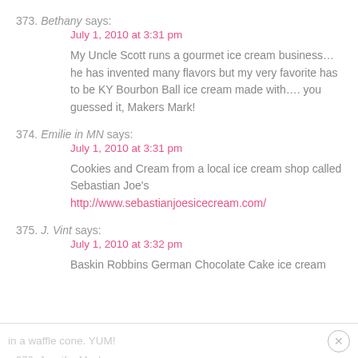373. Bethany says:
July 1, 2010 at 3:31 pm
My Uncle Scott runs a gourmet ice cream business… he has invented many flavors but my very favorite has to be KY Bourbon Ball ice cream made with…. you guessed it, Makers Mark!
374. Emilie in MN says:
July 1, 2010 at 3:31 pm
Cookies and Cream from a local ice cream shop called Sebastian Joe's
http://www.sebastianjoesicecream.com/
375. J. Vint says:
July 1, 2010 at 3:32 pm
Baskin Robbins German Chocolate Cake ice cream in a waffle cone. YUM!
376. Jennifer Mack says…